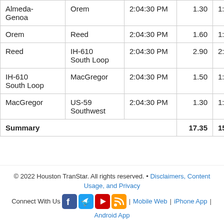| From | To | Time | Miles | Travel Time |
| --- | --- | --- | --- | --- |
| Almeda-Genoa | Orem | 2:04:30 PM | 1.30 | 1:0… |
| Orem | Reed | 2:04:30 PM | 1.60 | 1:2… |
| Reed | IH-610 South Loop | 2:04:30 PM | 2.90 | 2:3… |
| IH-610 South Loop | MacGregor | 2:04:30 PM | 1.50 | 1:2… |
| MacGregor | US-59 Southwest | 2:04:30 PM | 1.30 | 1:1… |
| Summary |  |  | 17.35 | 15:1… |
© 2022 Houston TranStar. All rights reserved. • Disclaimers, Content Usage, and Privacy
Connect With Us | Mobile Web | iPhone App | Android App